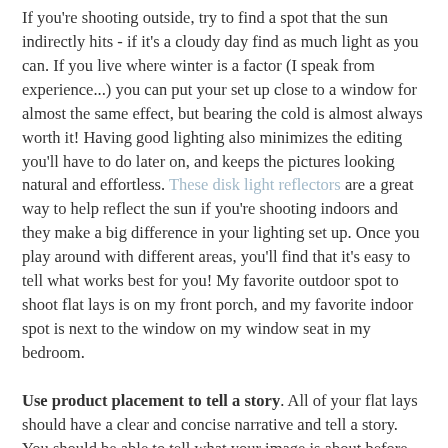If you're shooting outside, try to find a spot that the sun indirectly hits - if it's a cloudy day find as much light as you can. If you live where winter is a factor (I speak from experience...) you can put your set up close to a window for almost the same effect, but bearing the cold is almost always worth it! Having good lighting also minimizes the editing you'll have to do later on, and keeps the pictures looking natural and effortless. These disk light reflectors are a great way to help reflect the sun if you're shooting indoors and they make a big difference in your lighting set up. Once you play around with different areas, you'll find that it's easy to tell what works best for you! My favorite outdoor spot to shoot flat lays is on my front porch, and my favorite indoor spot is next to the window on my window seat in my bedroom.
Use product placement to tell a story. All of your flat lays should have a clear and concise narrative and tell a story. You should be able to tell what your image is about before even reading the caption. This is something I sometimes struggle with and I know I can't be the only one! It's difficult to assure that what you're trying to convey is coming out how it is in your head. If you aren't sure, ask a friend or someone at home - I always show my sister the pictures I take and she always gives me her honest opinion.